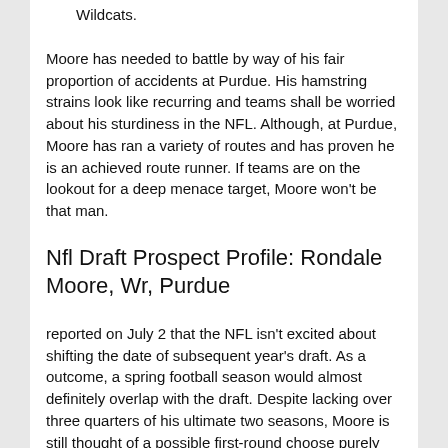Wildcats.
Moore has needed to battle by way of his fair proportion of accidents at Purdue. His hamstring strains look like recurring and teams shall be worried about his sturdiness in the NFL. Although, at Purdue, Moore has ran a variety of routes and has proven he is an achieved route runner. If teams are on the lookout for a deep menace target, Moore won't be that man.
Nfl Draft Prospect Profile: Rondale Moore, Wr, Purdue
reported on July 2 that the NFL isn't excited about shifting the date of subsequent year's draft. As a outcome, a spring football season would almost definitely overlap with the draft. Despite lacking over three quarters of his ultimate two seasons, Moore is still thought of a possible first-round choose purely